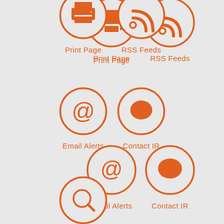[Figure (infographic): Print Page icon — orange circle outline with a printer icon inside]
Print Page
[Figure (infographic): RSS Feeds icon — orange circle outline with RSS signal icon inside]
RSS Feeds
[Figure (infographic): Email Alerts icon — orange circle outline with @ symbol inside]
Email Alerts
[Figure (infographic): Contact IR icon — orange circle outline with speech bubble icon inside]
Contact IR
[Figure (infographic): Search icon — orange circle outline with magnifying glass icon inside]
Search